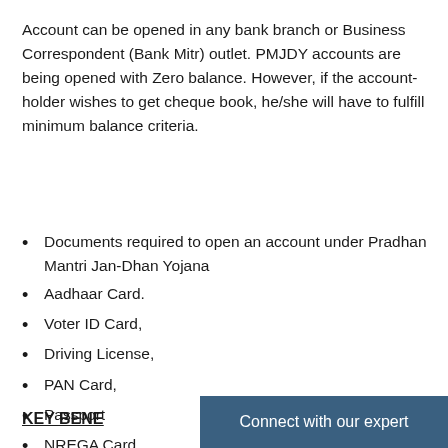Account can be opened in any bank branch or Business Correspondent (Bank Mitr) outlet. PMJDY accounts are being opened with Zero balance. However, if the account-holder wishes to get cheque book, he/she will have to fulfill minimum balance criteria.
Documents required to open an account under Pradhan Mantri Jan-Dhan Yojana
Aadhaar Card.
Voter ID Card,
Driving License,
PAN Card,
Passport
NREGA Card.
KEY BENE...
Connect with our expert